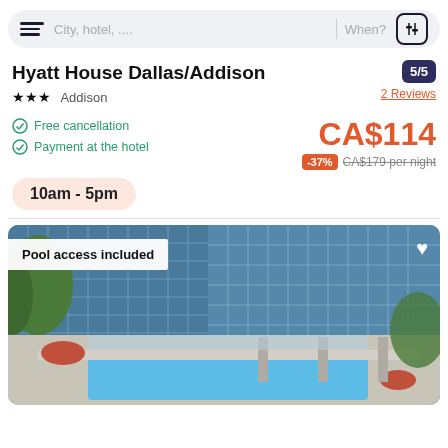City, hotel, .... | When?
Hyatt House Dallas/Addison
★★★ Addison | 5/5 | 2 Reviews
Free cancellation | Payment at the hotel
CA$114 | -37% | CA$179 per night
10am - 5pm
[Figure (photo): Hotel exterior showing glass facade tower with outdoor pool area, pool access included label overlay]